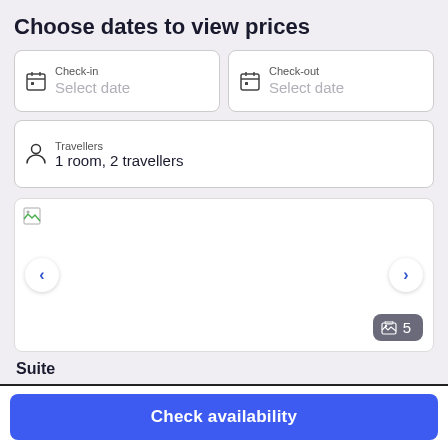Choose dates to view prices
Check-in
Select date
Check-out
Select date
Travellers
1 room, 2 travellers
[Figure (screenshot): Hotel room image carousel with navigation arrows and photo count badge showing 5]
Suite
Check availability